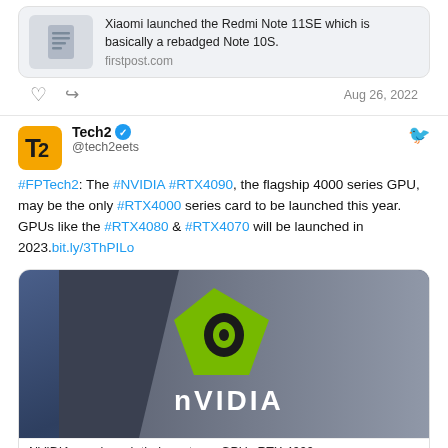[Figure (screenshot): News card with document icon showing Xiaomi Redmi Note 11SE article from firstpost.com]
Xiaomi launched the Redmi Note 11SE which is basically a rebadged Note 10S. firstpost.com
Aug 26, 2022
Tech2 @tech2eets
#FPTech2: The #NVIDIA #RTX4090, the flagship 4000 series GPU, may be the only #RTX4000 series card to be launched this year. GPUs like the #RTX4080 & #RTX4070 will be launched in 2023.bit.ly/3ThPILo
[Figure (photo): Photo of NVIDIA building exterior with green NVIDIA logo sign]
NVIDIA may launch their next-gen GPUs RTX 4000 se...